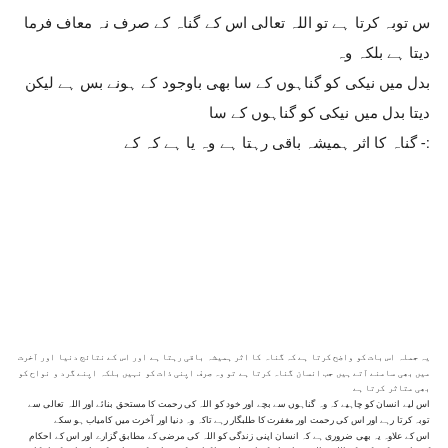س توبہ کرتا ہے تو اللہ تعالی اس کے گناہ کے صرف نہ معاف فرما دیتا ہے بلکہ وہ بدل میں نیکی کو گناہوں کے سا بھی باوجود کے ہونے بس ہے لیکن دیتا بدل میں نیکی کو گناہوں کے سا :- گناہ کا اثر ہمیشہ باقی رہتا ہے وہ یا ہے کہ کے
یہ جملہ اس بات کو واضح کرتا ہے کہ گناہ کا اثر ہمیشہ باقی رہتا ہے اور اس کے نتائج دنیا اور آخرت میں بھی سامنے آتے ہیں جب انسان گناہ کرتا ہے تو وہ صرف اپنی ذات کو نہیں بلکہ اپنے گرد و نواح کو بھی متاثر کرتا ہے اس لیے انسان کو چاہیے کہ وہ گناہوں سے بچے اور خود کو اللہ کی رحمت کا مستحق بنائے اور اللہ تعالی سے توبہ کرتا رہے اور اس کی رحمت اور مغفرت کا طلبگار رہے تاکہ وہ دنیا اور آخرت میں کامیاب ہو سکے